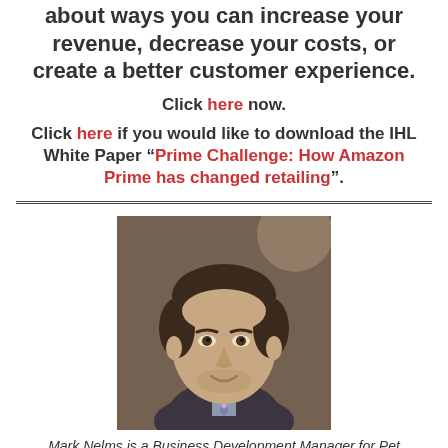about ways you can increase your revenue, decrease your costs, or create a better customer experience.
Click here now.
Click here if you would like to download the IHL White Paper “Prime Challenge: How Amazon Prime has changed retailing”.
[Figure (photo): Headshot of Mark Nelms, a man in a suit and tie, smiling, with a brick wall background]
Mark Nelms is a Business Development Manager for Pet